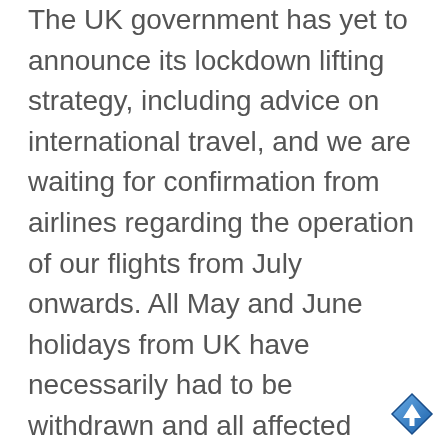The UK government has yet to announce its lockdown lifting strategy, including advice on international travel, and we are waiting for confirmation from airlines regarding the operation of our flights from July onwards. All May and June holidays from UK have necessarily had to be withdrawn and all affected clients have been contacted individually by email from our UK office. Once we have any further information on July holidays we will contact everyone concerned individually too.

In light of this we are continuing to delay requests for holiday balance
[Figure (other): A blue diamond-shaped scroll-to-top arrow button icon in the bottom-right corner of the page.]